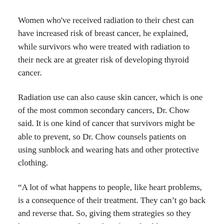Women who've received radiation to their chest can have increased risk of breast cancer, he explained, while survivors who were treated with radiation to their neck are at greater risk of developing thyroid cancer.
Radiation use can also cause skin cancer, which is one of the most common secondary cancers, Dr. Chow said. It is one kind of cancer that survivors might be able to prevent, so Dr. Chow counsels patients on using sunblock and wearing hats and other protective clothing.
“A lot of what happens to people, like heart problems, is a consequence of their treatment. They can’t go back and reverse that. So, giving them strategies so they have some control over their future health is important,” he said.
Radiation isn’t the only treatment that can cause secondary cancer. Dr. Chow explained that some chemotherapy drugs are associated with a small increase in survivors’ risk of developing certain types of leukemia.